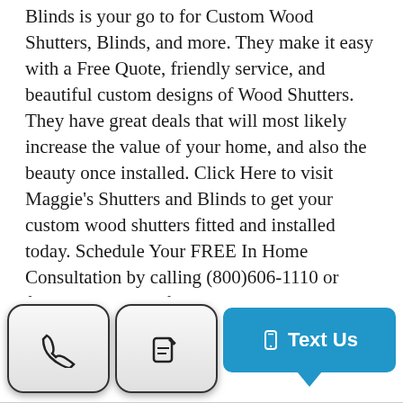Blinds is your go to for Custom Wood Shutters, Blinds, and more. They make it easy with a Free Quote, friendly service, and beautiful custom designs of Wood Shutters. They have great deals that will most likely increase the value of your home, and also the beauty once installed. Click Here to visit Maggie's Shutters and Blinds to get your custom wood shutters fitted and installed today. Schedule Your FREE In Home Consultation by calling (800)606-1110 or filling out inquiry form here: http://www.maggiesshutters.com/in-home-consultation-today
[Figure (screenshot): Mobile UI bar with phone call button (phone handset icon), edit/compose button (pencil icon), and a blue 'Text Us' button with mobile phone icon and a tooltip arrow pointing down.]